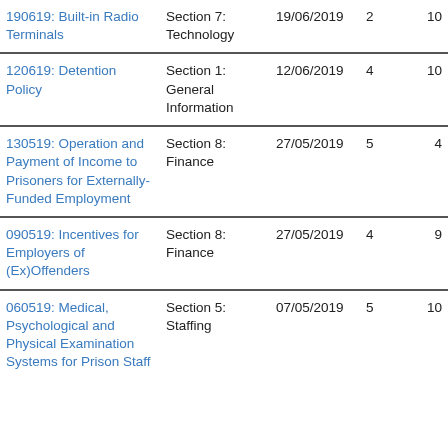| 190619: Built-in Radio Terminals | Section 7: Technology | 19/06/2019 | 2 | 10 |
| 120619: Detention Policy | Section 1: General Information | 12/06/2019 | 4 | 10 |
| 130519: Operation and Payment of Income to Prisoners for Externally-Funded Employment | Section 8: Finance | 27/05/2019 | 5 | 4 |
| 090519: Incentives for Employers of (Ex)Offenders | Section 8: Finance | 27/05/2019 | 4 | 9 |
| 060519: Medical, Psychological and Physical Examination Systems for Prison Staff | Section 5: Staffing | 07/05/2019 | 5 | 10 |